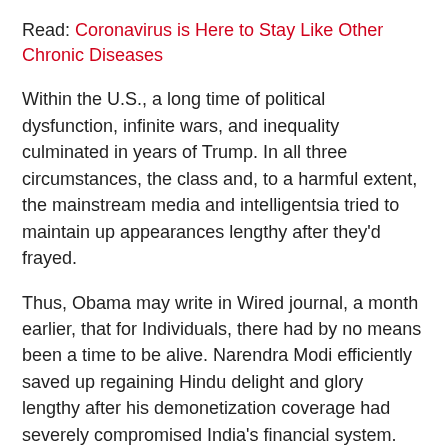Read: Coronavirus is Here to Stay Like Other Chronic Diseases
Within the U.S., a long time of political dysfunction, infinite wars, and inequality culminated in years of Trump. In all three circumstances, the class and, to a harmful extent, the mainstream media and intelligentsia tried to maintain up appearances lengthy after they'd frayed.
Thus, Obama may write in Wired journal, a month earlier, that for Individuals, there had by no means been a time to be alive. Narendra Modi efficiently saved up regaining Hindu delight and glory lengthy after his demonetization coverage had severely compromised India's financial system.
All nations are communities. However, they lose sight of their duties and fatally motion if they think about themselves too extravagantly. India at present can be extra